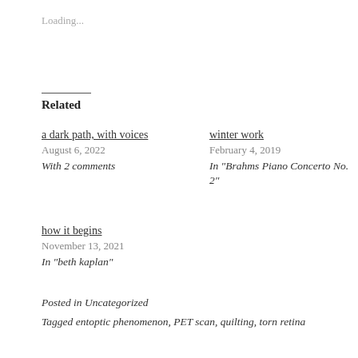Loading...
Related
a dark path, with voices
August 6, 2022
With 2 comments
winter work
February 4, 2019
In "Brahms Piano Concerto No. 2"
how it begins
November 13, 2021
In "beth kaplan"
Posted in Uncategorized
Tagged entoptic phenomenon, PET scan, quilting, torn retina